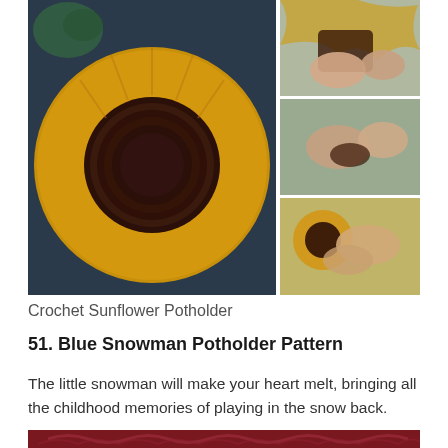[Figure (photo): Collage of crochet sunflower potholder images: large image on left showing finished yellow and brown crocheted sunflower potholder on dark background with yarn, three smaller images on right showing hands crocheting the sunflower piece at different stages.]
Crochet Sunflower Potholder
51. Blue Snowman Potholder Pattern
The little snowman will make your heart melt, bringing all the childhood memories of playing in the snow back.
[Figure (photo): Partial view of a dark red/maroon fabric or textile with ornate floral/paisley pattern, cropped at bottom of page.]